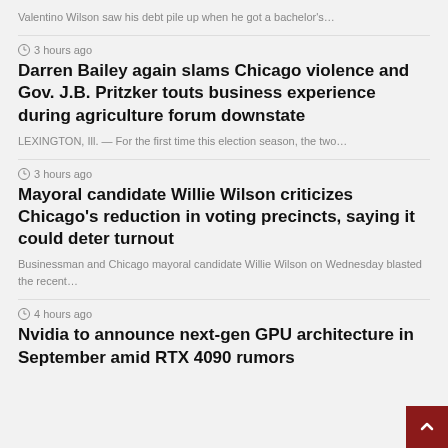Valentino Wilson saw his debt pile up when he got a bachelor's…
3 hours ago
Darren Bailey again slams Chicago violence and Gov. J.B. Pritzker touts business experience during agriculture forum downstate
LEXINGTON, Ill. — For the first time this election season, the two…
3 hours ago
Mayoral candidate Willie Wilson criticizes Chicago's reduction in voting precincts, saying it could deter turnout
Businessman and Chicago mayoral candidate Willie Wilson on Wednesday blasted the recent…
4 hours ago
Nvidia to announce next-gen GPU architecture in September amid RTX 4090 rumors